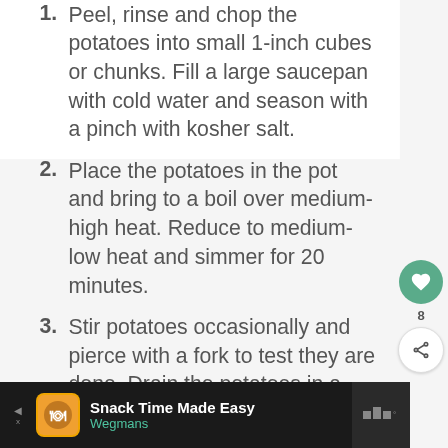1. Peel, rinse and chop the potatoes into small 1-inch cubes or chunks. Fill a large saucepan with cold water and season with a pinch with kosher salt.
2. Place the potatoes in the pot and bring to a boil over medium-high heat. Reduce to medium-low heat and simmer for 20 minutes.
3. Stir potatoes occasionally and pierce with a fork to test they are done. Drain the potatoes in a colander then return to the pot.
4. (partially visible)
Snack Time Made Easy
Wegmans